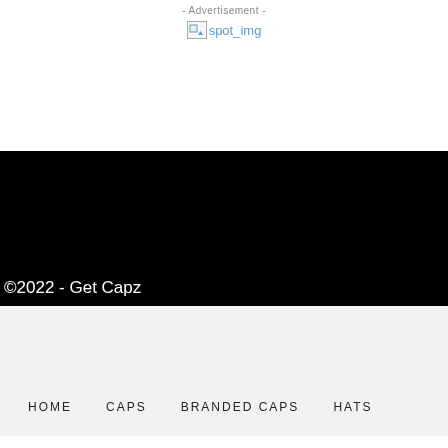- Advertisement -
[Figure (other): Broken image placeholder labeled spot_img, representing an advertisement image that failed to load]
[Figure (other): Large black rectangle area, likely a video or image section]
©2022 - Get Capz
HOME   CAPS   BRANDED CAPS   HATS